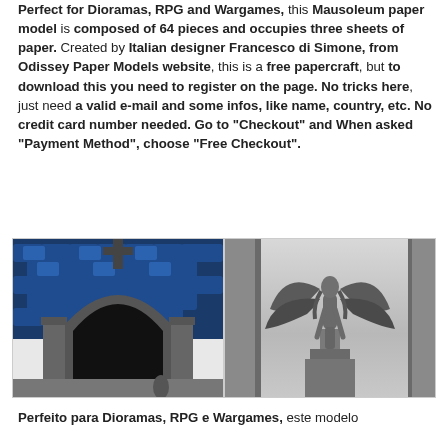Perfect for Dioramas, RPG and Wargames, this Mausoleum paper model is composed of 64 pieces and occupies three sheets of paper. Created by Italian designer Francesco di Simone, from Odissey Paper Models website, this is a free papercraft, but to download this you need to register on the page. No tricks here, just need a valid e-mail and some infos, like name, country, etc. No credit card number needed. Go to "Checkout" and When asked "Payment Method", choose "Free Checkout".
[Figure (photo): Two side-by-side photos of a mausoleum paper model. Left image shows a close-up of a gothic arch with blue tiled roof and dark stone-like texture. Right image shows a winged angel statue (female figure with spread wings) in front of stone columns.]
Perfeito para Dioramas, RPG e Wargames, este modelo